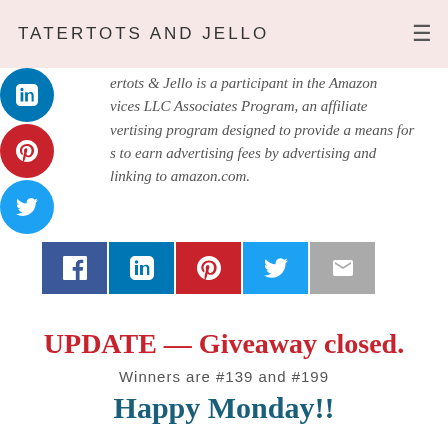TATERTOTS AND JELLO
Tatertots & Jello is a participant in the Amazon Services LLC Associates Program, an affiliate advertising program designed to provide a means for sites to earn advertising fees by advertising and linking to amazon.com.
[Figure (other): Social share buttons: Facebook, LinkedIn, Pinterest, Twitter, Email]
UPDATE — Giveaway closed.
Winners are #139 and #199
Happy Monday!!